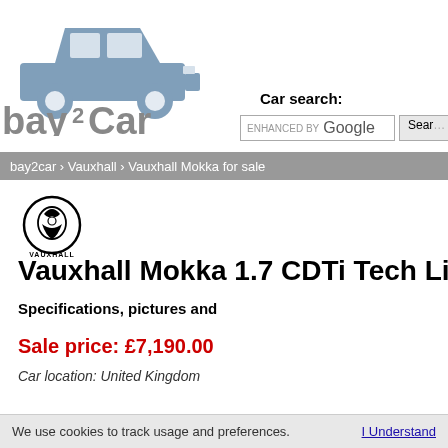[Figure (logo): bay2Car website logo with a blue car silhouette above the text 'bay2Car']
Car search:
[Figure (screenshot): Enhanced by Google search input box with a Search button]
bay2car › Vauxhall › Vauxhall Mokka for sale
[Figure (logo): Vauxhall brand logo - circular griffin emblem with VAUXHALL text below]
Vauxhall Mokka 1.7 CDTi Tech Line 2WD
Specifications, pictures and
Sale price: £7,190.00
Car location: United Kingdom
We use cookies to track usage and preferences.   I Understand